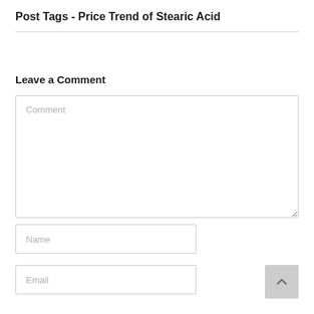Post Tags - Price Trend of Stearic Acid
Leave a Comment
Comment (placeholder text in textarea)
Name (placeholder text in input)
Email (placeholder text in input)